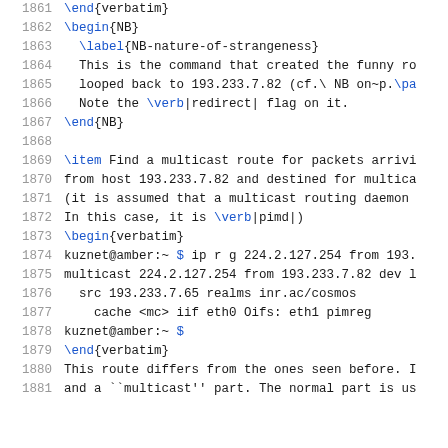1861  \end{verbatim}
1862  \begin{NB}
1863    \label{NB-nature-of-strangeness}
1864    This is the command that created the funny ro
1865    looped back to 193.233.7.82 (cf.\ NB on~p.\pa
1866    Note the \verb|redirect| flag on it.
1867  \end{NB}
1868
1869  \item Find a multicast route for packets arrivi
1870  from host 193.233.7.82 and destined for multica
1871  (it is assumed that a multicast routing daemon
1872  In this case, it is \verb|pimd|)
1873  \begin{verbatim}
1874  kuznet@amber:~ $ ip r g 224.2.127.254 from 193.
1875  multicast 224.2.127.254 from 193.233.7.82 dev l
1876    src 193.233.7.65 realms inr.ac/cosmos
1877      cache <mc> iif eth0 Oifs: eth1 pimreg
1878  kuznet@amber:~ $
1879  \end{verbatim}
1880  This route differs from the ones seen before. I
1881  and a ``multicast'' part. The normal part is us